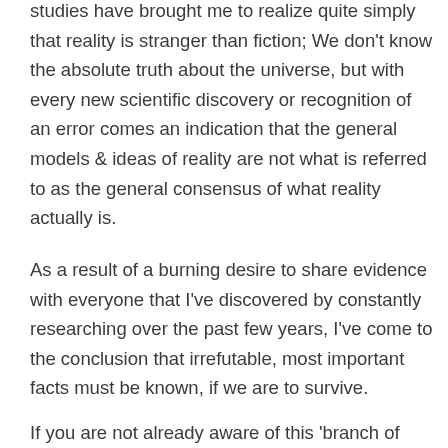studies have brought me to realize quite simply that reality is stranger than fiction; We don't know the absolute truth about the universe, but with every new scientific discovery or recognition of an error comes an indication that the general models & ideas of reality are not what is referred to as the general consensus of what reality actually is.
As a result of a burning desire to share evidence with everyone that I've discovered by constantly researching over the past few years, I've come to the conclusion that irrefutable, most important facts must be known, if we are to survive.
If you are not already aware of this 'branch of knowledge' it will initially seem so far out, you may